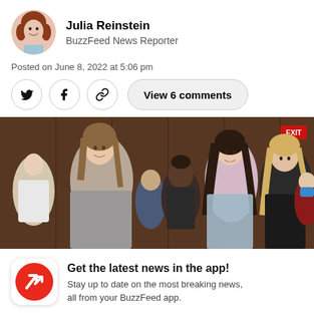[Figure (photo): Circular avatar photo of Julia Reinstein, a woman with red hair and a white/blue top]
Julia Reinstein
BuzzFeed News Reporter
Posted on June 8, 2022 at 5:06 pm
View 6 comments
[Figure (photo): Photo of several women including gymnasts at what appears to be a Senate hearing, with wood-paneled walls in background]
Get the latest news in the app!
Stay up to date on the most breaking news, all from your BuzzFeed app.
Maybe later
Get the app